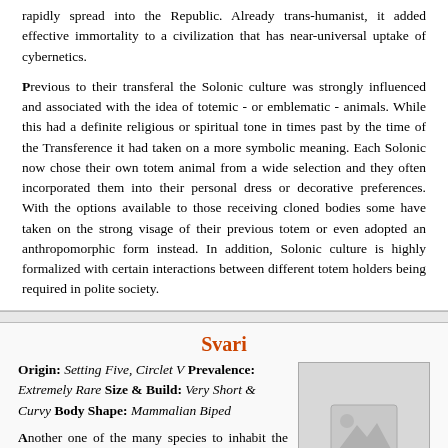rapidly spread into the Republic. Already trans-humanist, it added effective immortality to a civilization that has near-universal uptake of cybernetics.
Previous to their transferal the Solonic culture was strongly influenced and associated with the idea of totemic - or emblematic - animals. While this had a definite religious or spiritual tone in times past by the time of the Transference it had taken on a more symbolic meaning. Each Solonic now chose their own totem animal from a wide selection and they often incorporated them into their personal dress or decorative preferences. With the options available to those receiving cloned bodies some have taken on the strong visage of their previous totem or even adopted an anthropomorphic form instead. In addition, Solonic culture is highly formalized with certain interactions between different totem holders being required in polite society.
Svari
Origin: Setting Five, Circlet V Prevalence: Extremely Rare Size & Build: Very Short & Curvy Body Shape: Mammalian Biped
Another one of the many species to inhabit the Circlet in the far-off Gen Celet System, the Svari are a nocturnal species that largely resembles humanoid elephant shrews in both appearance and behavior. They are also one of the smallest species of biological sapient known to the Republic at a good stretch under one meter in average
[Figure (photo): Placeholder image box with a landscape/photo icon in gray]